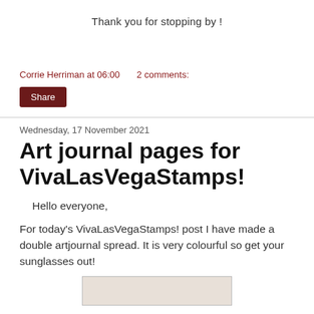Thank you for stopping by !
Corrie Herriman at 06:00    2 comments:
Share
Wednesday, 17 November 2021
Art journal pages for VivaLasVegaStamps!
Hello everyone,
For today's VivaLasVegaStamps! post I have made a double artjournal spread. It is very colourful so get your sunglasses out!
[Figure (photo): Partially visible photo of an art journal spread at the bottom of the page]